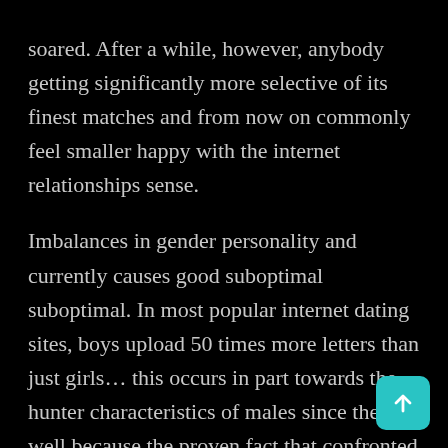soared. After a while, however, anybody getting significantly more selective of its finest matches and from now on commonly feel smaller happy with the internet relationships sense.
Imbalances in gender personality and currently causes good suboptimal suboptimal. In most popular internet dating sites, boys upload 50 times more letters than just girls... this occurs in part towards the hunter characteristics of males since the well because the proven fact that confronted by the an enthusiastic avalanche out of characters, women answer a small fraction of these which results in guys needing to upload alot more to acquire one react. As a